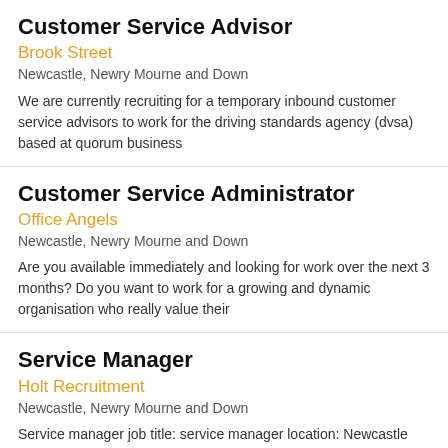Customer Service Advisor
Brook Street
Newcastle, Newry Mourne and Down
We are currently recruiting for a temporary inbound customer service advisors to work for the driving standards agency (dvsa) based at quorum business
Customer Service Administrator
Office Angels
Newcastle, Newry Mourne and Down
Are you available immediately and looking for work over the next 3 months? Do you want to work for a growing and dynamic organisation who really value their
Service Manager
Holt Recruitment
Newcastle, Newry Mourne and Down
Service manager job title: service manager location: Newcastle salary: £42'000 to £45'000 per annum I am currently working with a leading commercial vehicle
Customer Service Agent
Aviation Recruitment Network East Midlands
Lisburn, Lisburn and Castlereagh